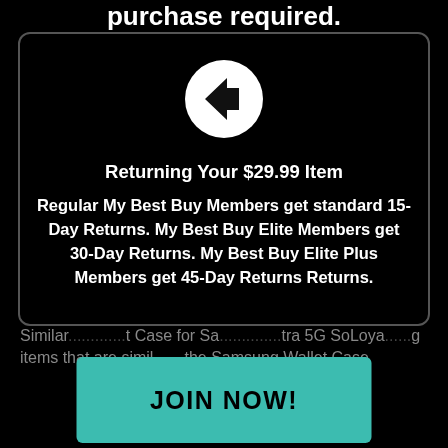purchase required.
[Figure (illustration): White circle with a left-pointing arrow icon (back button)]
Returning Your $29.99 Item
Regular My Best Buy Members get standard 15-Day Returns. My Best Buy Elite Members get 30-Day Returns. My Best Buy Elite Plus Members get 45-Day Returns Returns.
Similar... Wallet Case for Samsung Galaxy...tra 5G SoLoya...g items that are similar of the Samsung Wallet Case
JOIN NOW!